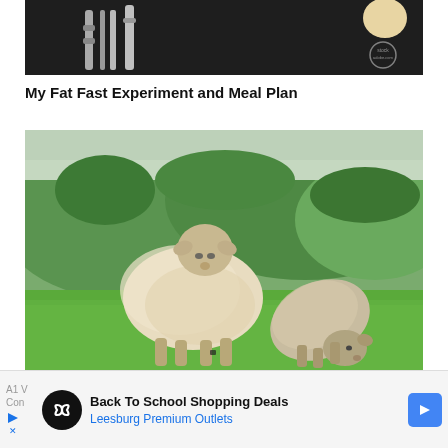[Figure (photo): Top portion of a photo showing what appears to be cutlery/silverware on a dark background with a small circular watermark in the upper right]
My Fat Fast Experiment and Meal Plan
[Figure (photo): Two sheep standing in a green field with hills and trees in the background. A large fluffy white sheep faces the camera and a smaller darker sheep grazes with its head down.]
A1 V Con
Back To School Shopping Deals
Leesburg Premium Outlets